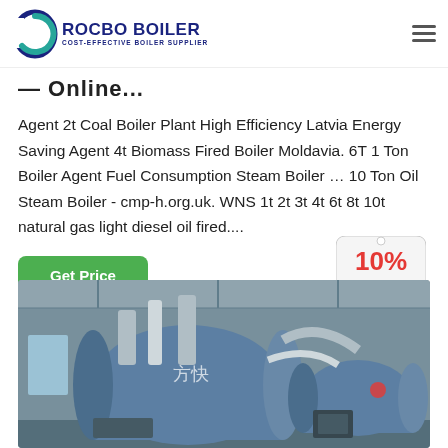[Figure (logo): Rocbo Boiler logo — circular C-shape icon in blue/teal with text ROCBO BOILER and tagline COST-EFFECTIVE BOILER SUPPLIER]
— Online...
Agent 2t Coal Boiler Plant High Efficiency Latvia Energy Saving Agent 4t Biomass Fired Boiler Moldavia. 6T 1 Ton Boiler Agent Fuel Consumption Steam Boiler … 10 Ton Oil Steam Boiler - cmp-h.org.uk. WNS 1t 2t 3t 4t 6t 8t 10t natural gas light diesel oil fired....
[Figure (other): Green 'Get Price' button]
[Figure (infographic): 10% DISCOUNT badge in red and yellow tag shape]
[Figure (photo): Industrial boiler room showing two large blue horizontal steam boilers with piping, in a factory setting]